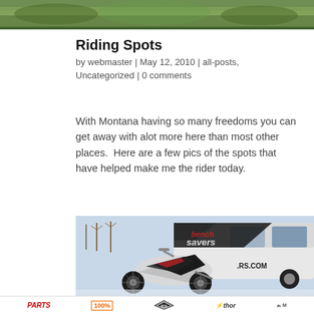[Figure (photo): Top banner photo - outdoor nature/dirt scene]
Riding Spots
by webmaster | May 12, 2010 | all-posts, Uncategorized | 0 comments
With Montana having so many freedoms you can get away with alot more here than most other places.  Here are a few pics of the spots that have helped make me the rider today.
[Figure (photo): Motocross dirt bike in front of a white van with 'bench savers' graphic wrap, RS.COM visible on van]
[Figure (logo): Sponsor logos bar at bottom: PARTS, 100%, RCS wings logo, Thor, and another brand]